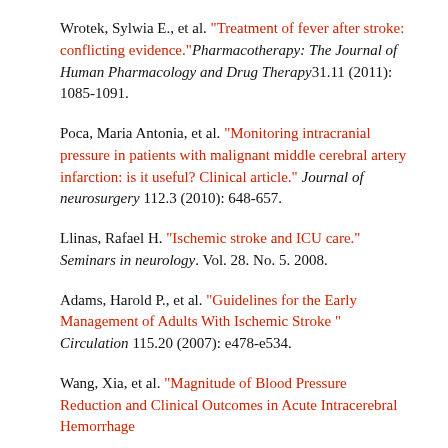Wrotek, Sylwia E., et al. "Treatment of fever after stroke: conflicting evidence." Pharmacotherapy: The Journal of Human Pharmacology and Drug Therapy 31.11 (2011): 1085-1091.
Poca, Maria Antonia, et al. "Monitoring intracranial pressure in patients with malignant middle cerebral artery infarction: is it useful? Clinical article." Journal of neurosurgery 112.3 (2010): 648-657.
Llinas, Rafael H. "Ischemic stroke and ICU care." Seminars in neurology. Vol. 28. No. 5. 2008.
Adams, Harold P., et al. "Guidelines for the Early Management of Adults With Ischemic Stroke" Circulation 115.20 (2007): e478-e534.
Wang, Xia, et al. "Magnitude of Blood Pressure Reduction and Clinical Outcomes in Acute Intracerebral Hemorrhage